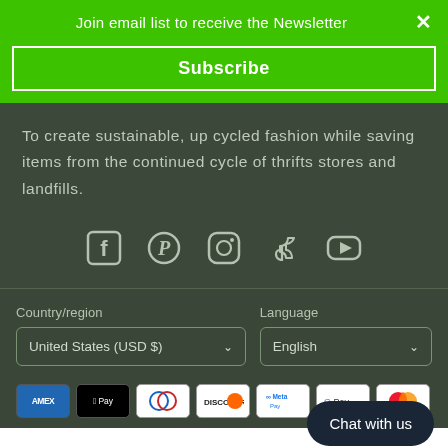Join email list to receive the Newsletter ×
Subscribe
To create sustainable, up cycled fashion while saving items from the continued cycle of thrifts stores and landfills.
[Figure (infographic): Social media icons row: Facebook, Pinterest, Instagram, TikTok, YouTube]
Country/region
Language
United States (USD $)
English
Chat with us
[Figure (infographic): Payment method icons: AMEX, Apple Pay, Diners Club, Discover, Meta Pay, Google Pay, Mastercard]